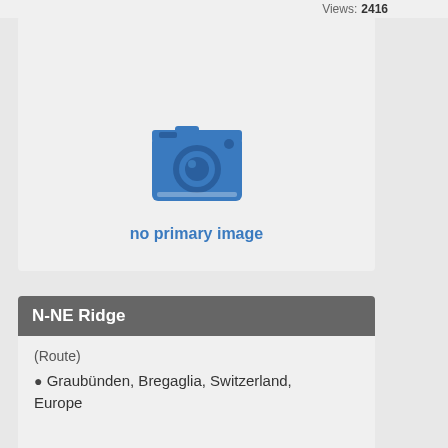Views: 2416
[Figure (illustration): Camera icon placeholder indicating no primary image available]
no primary image
N-NE Ridge
(Route)
Graubünden, Bregaglia, Switzerland, Europe
Difficulty: UIAA III to IV+ (5.3 - 5.7)
Parents: Il Gallo (Al Gal)